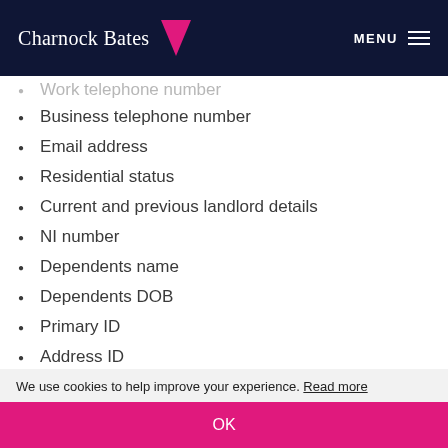Charnock Bates MENU
Work telephone number (partial, cut off at top)
Business telephone number
Email address
Residential status
Current and previous landlord details
NI number
Dependents name
Dependents DOB
Primary ID
Address ID
Bank statements
Proof of income (partial, cut off at bottom)
We use cookies to help improve your experience. Read more
OK